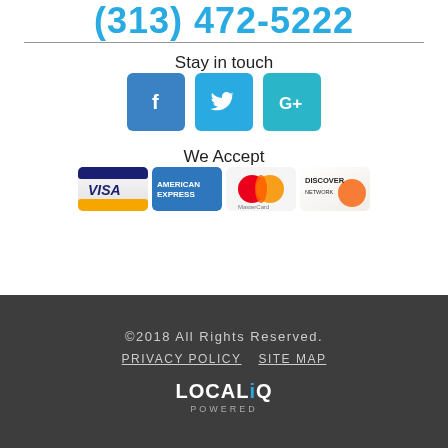(313) 472-5222
Stay in touch
[Figure (other): Three social media buttons: Facebook (f), Twitter (bird icon), Google+ (G+)]
We Accept
[Figure (other): Four payment card logos: Visa, American Express, MasterCard, Discover]
©2018 All Rights Reserved. PRIVACY POLICY  SITE MAP  LOCALiQ POWERED